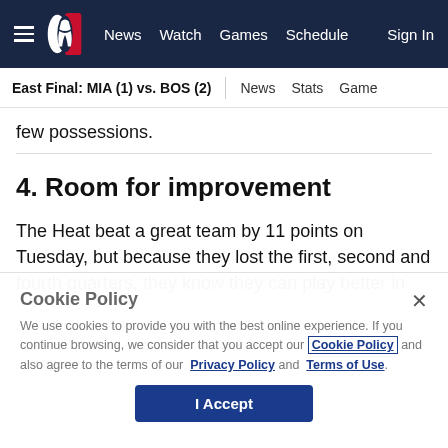NBA – News | Watch | Games | Schedule | Sign In
East Final: MIA (1) vs. BOS (2) | News | Stats | Games
few possessions.
4. Room for improvement
The Heat beat a great team by 11 points on Tuesday, but because they lost the first, second and fourth quarters, they know they can play better in
Cookie Policy
We use cookies to provide you with the best online experience. If you continue browsing, we consider that you accept our Cookie Policy and also agree to the terms of our Privacy Policy and Terms of Use.
I Accept